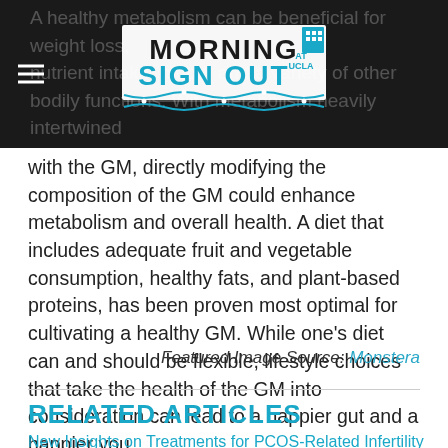Morning Sign Out at UCLA
with the GM, directly modifying the composition of the GM could enhance metabolism and overall health. A diet that includes adequate fruit and vegetable consumption, healthy fats, and plant-based proteins, has been proven most optimal for cultivating a healthy GM. While one's diet can and should be flexible, lifestyle choices that take the health of the GM into consideration can lead to a happier gut and a happier you.
Featured Image Source: Monstera
RELATED ARTICLES
New Insights on Treatments for PCOS-Related Infertility